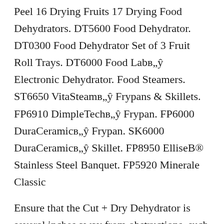Peel 16 Drying Fruits 17 Drying Food Dehydrators. DT5600 Food Dehydrator. DT0300 Food Dehydrator Set of 3 Fruit Roll Trays. DT6000 Food Labв„ŷ Electronic Dehydrator. Food Steamers. ST6650 VitaSteamв„ŷ Frypans & Skillets. FP6910 DimpleTechв„ŷ Frypan. FP6000 DuraCeramicв„ŷ Frypan. SK6000 DuraCeramicв„ŷ Skillet. FP8950 ElliseB® Stainless Steel Banquet. FP5920 Minerale Classic
Ensure that the Cut + Dry Dehydrator is several inches away from obstructions, such as walls, cabinets, doors, and other appliances. Allow enough room above the Dehydrator so the EasyVue Door can be fully opened. Wash the Drying Trays and Protective Food Sheet in warm, sudsy water. Dry thoroughly. 4. 2. Prepare the